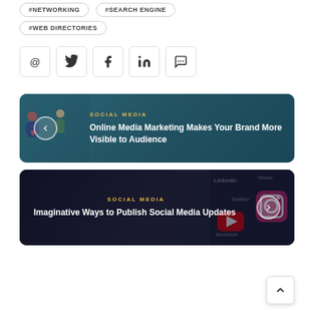#NETWORKING
#SEARCH ENGINE
#WEB DIRECTORIES
[Figure (infographic): Row of social sharing icon buttons: @, Twitter bird, Facebook f, LinkedIn in, speech bubble (comment)]
[Figure (infographic): Card 1: Social media illustration banner with category 'SOCIAL MEDIA' in gold, title 'Online Media Marketing Makes Your Brand More Visible to Audience' in white, back arrow button, teal background with people holding social media icons]
[Figure (infographic): Card 2: Dark background with social media app icons (LinkedIn, Twitter, Facebook, YouTube, Instagram, Vimeo), category 'SOCIAL MEDIA' in gold, title 'Imaginative Ways to Publish Social Media Updates' in white, forward arrow button]